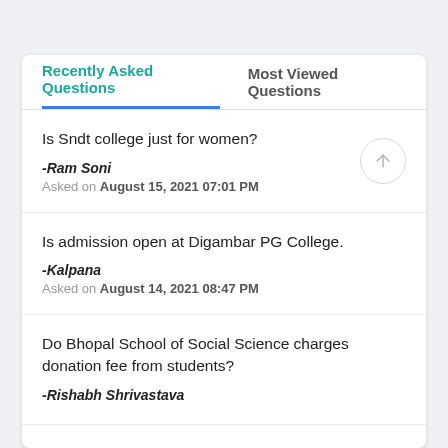Recently Asked Questions | Most Viewed Questions
Is Sndt college just for women?
-Ram Soni
Asked on August 15, 2021 07:01 PM
Is admission open at Digambar PG College.
-Kalpana
Asked on August 14, 2021 08:47 PM
Do Bhopal School of Social Science charges donation fee from students?
-Rishabh Shrivastava